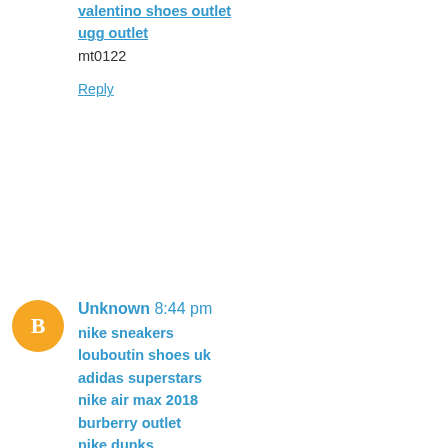valentino shoes outlet
ugg outlet
mt0122
Reply
Unknown  8:44 pm
nike sneakers
louboutin shoes uk
adidas superstars
nike air max 2018
burberry outlet
nike dunks
michael kors uk
http://www.kobeshoes.uk
adidas online shop
jordan shoes
Reply
Unknown  7:32 pm